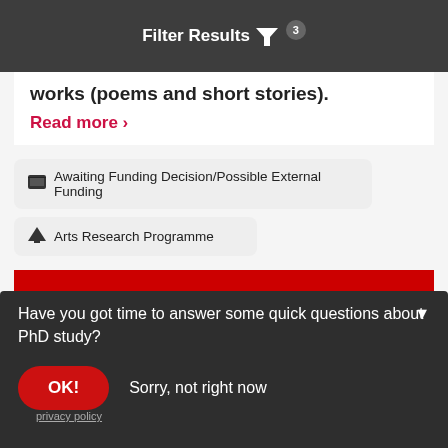Filter Results 3
works (poems and short stories).
Read more >
Awaiting Funding Decision/Possible External Funding
Arts Research Programme
Have you got time to answer some quick questions about PhD study?
OK!
Sorry, not right now